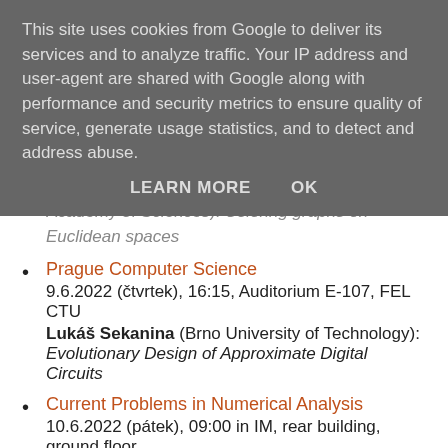This site uses cookies from Google to deliver its services and to analyze traffic. Your IP address and user-agent are shared with Google along with performance and security metrics to ensure quality of service, generate usage statistics, and to detect and address abuse.
LEARN MORE   OK
Academy of Sciences): Coloring graphs on Euclidean spaces
Prague Computer Science
9.6.2022 (čtvrtek), 16:15, Auditorium E-107, FEL CTU
Lukáš Sekanina (Brno University of Technology): Evolutionary Design of Approximate Digital Circuits
Current Problems in Numerical Analysis
10.6.2022 (pátek), 09:00 in IM, rear building, ground floor
Olena Atlasiuk (Institute of Mathematics of the National Academy of Sciences of Ukraine): On